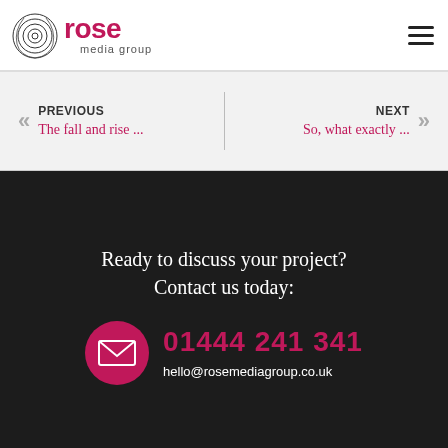Rose Media Group
PREVIOUS — The fall and rise ... | NEXT — So, what exactly ...
Ready to discuss your project? Contact us today:
01444 241 341
hello@rosemediagroup.co.uk